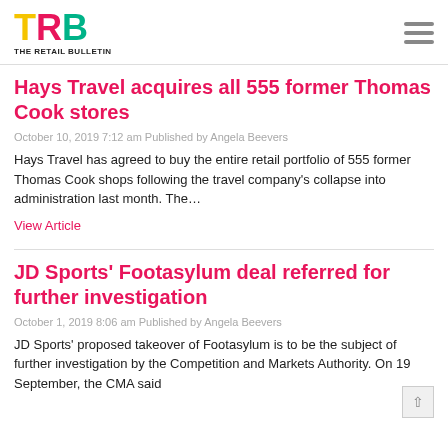TRB THE RETAIL BULLETIN
Hays Travel acquires all 555 former Thomas Cook stores
October 10, 2019 7:12 am Published by Angela Beevers
Hays Travel has agreed to buy the entire retail portfolio of 555 former Thomas Cook shops following the travel company's collapse into administration last month. The…
View Article
JD Sports' Footasylum deal referred for further investigation
October 1, 2019 8:06 am Published by Angela Beevers
JD Sports' proposed takeover of Footasylum is to be the subject of further investigation by the Competition and Markets Authority. On 19 September, the CMA said